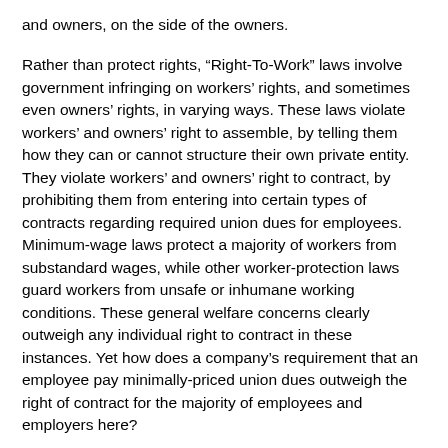and owners, on the side of the owners.
Rather than protect rights, “Right-To-Work” laws involve government infringing on workers’ rights, and sometimes even owners’ rights, in varying ways. These laws violate workers’ and owners’ right to assemble, by telling them how they can or cannot structure their own private entity. They violate workers’ and owners’ right to contract, by prohibiting them from entering into certain types of contracts regarding required union dues for employees. Minimum-wage laws protect a majority of workers from substandard wages, while other worker-protection laws guard workers from unsafe or inhumane working conditions. These general welfare concerns clearly outweigh any individual right to contract in these instances. Yet how does a company’s requirement that an employee pay minimally-priced union dues outweigh the right of contract for the majority of employees and employers here?
At their core, “Right-To-Work” laws authorize government to come in and tell a private entity how it can and cannot democratically